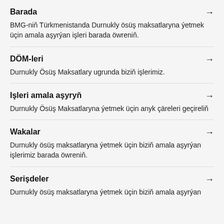Barada
BMG-niň Türkmenistanda Durnukly ösüş maksatlaryna ýetmek üçin amala aşyrýan işleri barada öwreniň.
DÖM-leri
Durnukly Ösüş Maksatlary ugrunda biziň işlerimiz.
Işleri amala aşyryň
Durnukly Ösüş Maksatlaryna ýetmek üçin anyk çäreleri geçireliň
Wakalar
Durnukly ösüş maksatlaryna ýetmek üçin biziň amala aşyrýan işlerimiz barada öwreniň.
Serişdeler
Durnukly ösüş maksatlaryna ýetmek üçin biziň amala aşyrýan